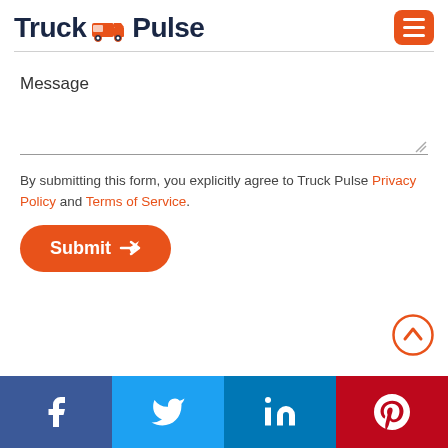Truck Pulse
Message
By submitting this form, you explicitly agree to Truck Pulse Privacy Policy and Terms of Service.
Submit
[Figure (other): Social media footer bar with Facebook, Twitter, LinkedIn, and Pinterest icons]